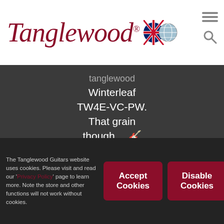[Figure (logo): Tanglewood guitar brand logo in dark red italic script with registered trademark, alongside UK flag and globe icons, and hamburger menu / search icons]
tanglewood Winterleaf TW4E-VC-PW. That grain though… 🎸 thebopshopmusic pic.twitter.com/UzExUexDEW 15 hours ago
[Figure (illustration): White Twitter bird icon]
Just landed at
The Tanglewood Guitars website uses cookies. Please visit and read our 'Privacy Policy' page to learn more. Note the store and other functions will not work without cookies.
Accept Cookies
Disable Cookies